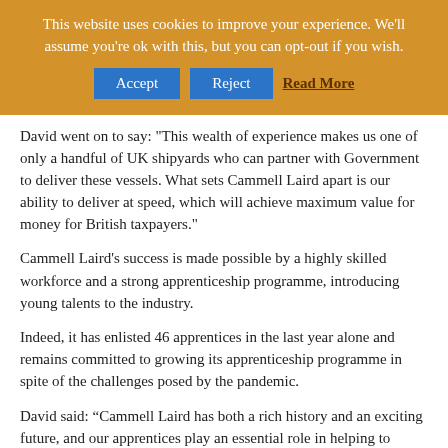[Figure (screenshot): Cookie consent banner with gold/amber background. Text reads: 'This website uses cookies to improve your experience. We'll assume you're ok with this, but you can opt-out if you wish.' with Accept and Reject buttons and a Read More link.]
David went on to say: "This wealth of experience makes us one of only a handful of UK shipyards who can partner with Government to deliver these vessels. What sets Cammell Laird apart is our ability to deliver at speed, which will achieve maximum value for money for British taxpayers."
Cammell Laird's success is made possible by a highly skilled workforce and a strong apprenticeship programme, introducing young talents to the industry.
Indeed, it has enlisted 46 apprentices in the last year alone and remains committed to growing its apprenticeship programme in spite of the challenges posed by the pandemic.
David said: “Cammell Laird has both a rich history and an exciting future, and our apprentices play an essential role in helping to protect our heritage and